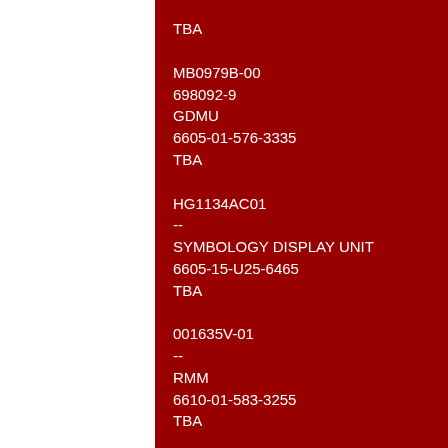TBA
MB0979B-00
698092-9
GDMU
6605-01-576-3335
TBA
HG1134AC01
--
SYMBOLOGY DISPLAY UNIT
6605-15-U25-6465
TBA
001635V-01
--
RMM
6610-01-583-3255
TBA
A31U29684-2
A31U29684-5